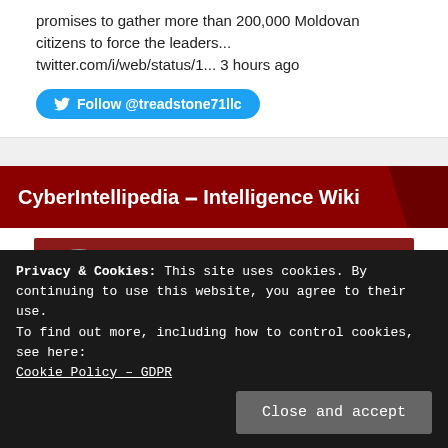promises to gather more than 200,000 Moldovan citizens to force the leaders... twitter.com/i/web/status/1... 3 hours ago
Follow @treadstone71llc
CyberIntellipedia – Intelligence Wiki
[Figure (screenshot): YouTube channel preview showing CyberIntellipedia Conscientia ... with avatar icon and three-dot menu]
Privacy & Cookies: This site uses cookies. By continuing to use this website, you agree to their use.
To find out more, including how to control cookies, see here:
Cookie Policy – GDPR
Close and accept